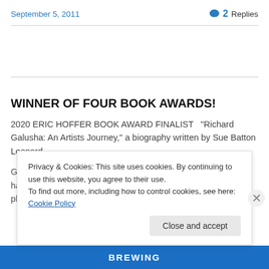September 5, 2011
2 Replies
WINNER OF FOUR BOOK AWARDS!
2020 ERIC HOFFER BOOK AWARD FINALIST  "Richard Galusha: An Artists Journey," a biography written by Sue Batton Leonard
Gift of a Lifetime: Finding Fulfilling Things in the Unexpected has won three book awards. It is available in audio book (2nd place EVVY
Privacy & Cookies: This site uses cookies. By continuing to use this website, you agree to their use.
To find out more, including how to control cookies, see here: Cookie Policy
Close and accept